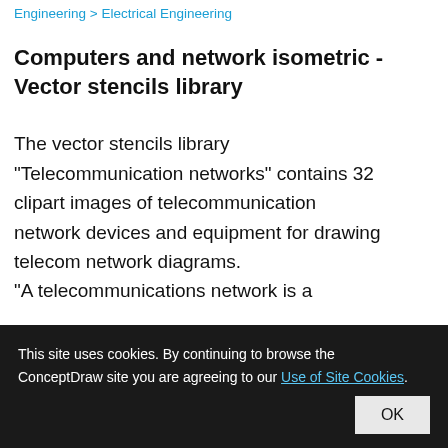Engineering > Electrical Engineering
Computers and network isometric - Vector stencils library
The vector stencils library "Telecommunication networks" contains 32 clipart images of telecommunication network devices and equipment for drawing telecom network diagrams.
"A telecommunications network is a
This site uses cookies. By continuing to browse the ConceptDraw site you are agreeing to our Use of Site Cookies.